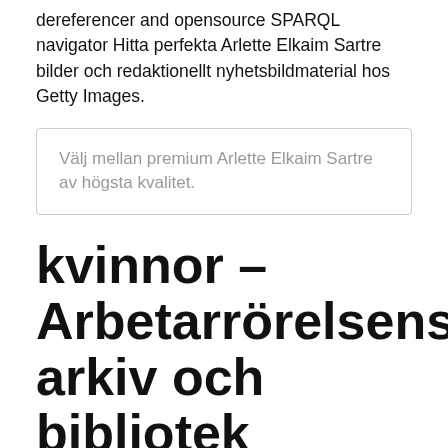dereferencer and opensource SPARQL navigator Hitta perfekta Arlette Elkaim Sartre bilder och redaktionellt nyhetsbildmaterial hos Getty Images.
Välj mellan premium Arlette Elkaim Sartre av högsta kvalitet.
kvinnor – Arbetarrörelsens arkiv och bibliotek
Books. Critique of Dialectical Reason, Vol. 2.